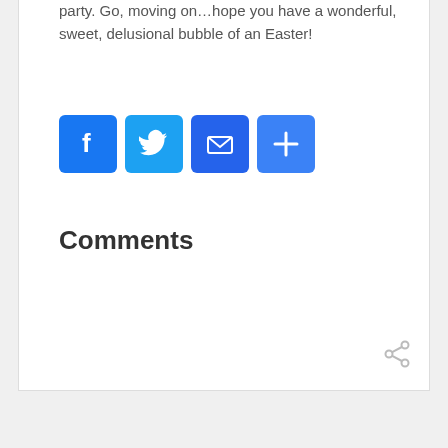party.  Go, moving on…hope you have a wonderful, sweet, delusional bubble of an Easter!
[Figure (infographic): Row of four social sharing icon buttons: Facebook (blue, F logo), Twitter (blue, bird logo), Email (blue, envelope icon), Share/More (blue, plus icon)]
Comments